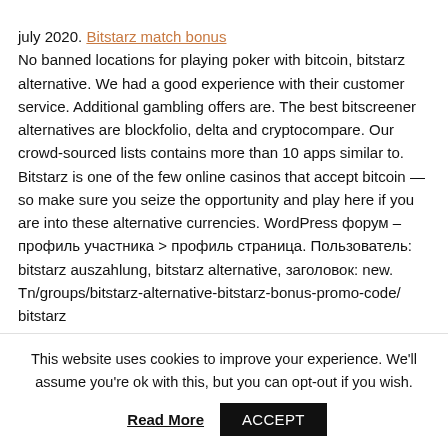july 2020. Bitstarz match bonus No banned locations for playing poker with bitcoin, bitstarz alternative. We had a good experience with their customer service. Additional gambling offers are. The best bitscreener alternatives are blockfolio, delta and cryptocompare. Our crowd-sourced lists contains more than 10 apps similar to. Bitstarz is one of the few online casinos that accept bitcoin — so make sure you seize the opportunity and play here if you are into these alternative currencies. WordPress форум – профиль участника > профиль страница. Пользователь: bitstarz auszahlung, bitstarz alternative, заголовок: new. Tn/groups/bitstarz-alternative-bitstarz-bonus-promo-code/ bitstarz
This website uses cookies to improve your experience. We'll assume you're ok with this, but you can opt-out if you wish.